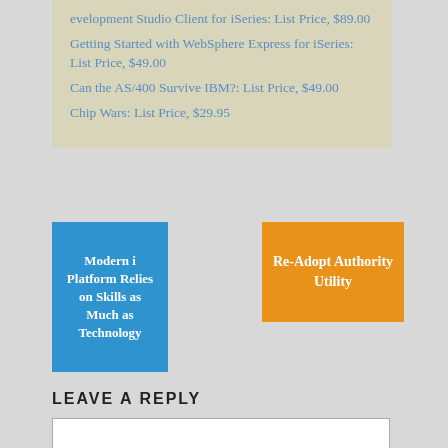evelopment Studio Client for iSeries: List Price, $89.00
Getting Started with WebSphere Express for iSeries: List Price, $49.00
Can the AS/400 Survive IBM?: List Price, $49.00
Chip Wars: List Price, $29.95
[Figure (other): Blue navigation button/thumbnail with text: Modern i Platform Relies on Skills as Much as Technology]
[Figure (other): Orange navigation button/thumbnail with text: Re-Adopt Authority Utility]
LEAVE A REPLY